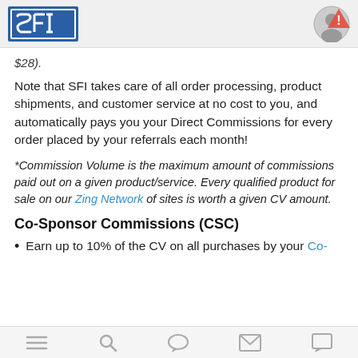SFI logo and user avatar
$28).
Note that SFI takes care of all order processing, product shipments, and customer service at no cost to you, and automatically pays you your Direct Commissions for every order placed by your referrals each month!
*Commission Volume is the maximum amount of commissions paid out on a given product/service. Every qualified product for sale on our Zing Network of sites is worth a given CV amount.
Co-Sponsor Commissions (CSC)
Earn up to 10% of the CV on all purchases by your Co-